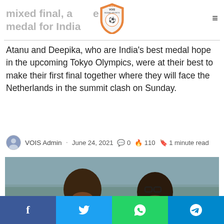mixed final, a medal for India
[Figure (logo): VOIS Indian Sports shield logo with orange border]
Atanu and Deepika, who are India's best medal hope in the upcoming Tokyo Olympics, were at their best to make their first final together where they will face the Netherlands in the summit clash on Sunday.
VOIS Admin · June 24, 2021 💬 0 🔥 110 🔖 1 minute read
[Figure (photo): Photo of Atanu Das and Deepika Kumari smiling together outdoors in sports attire]
f   Twitter WhatsApp Telegram social share buttons